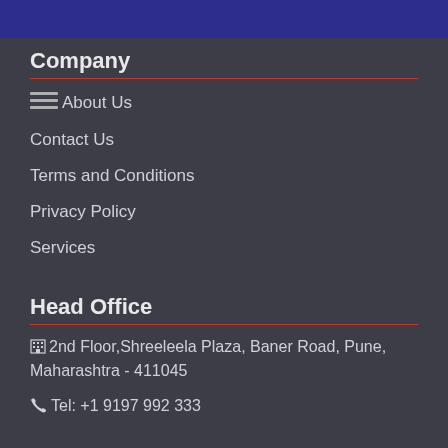Company
About Us
Contact Us
Terms and Conditions
Privacy Policy
Services
Head Office
2nd Floor,Shreeleela Plaza, Baner Road, Pune, Maharashtra - 411045
Tel: +1 9197 992 333